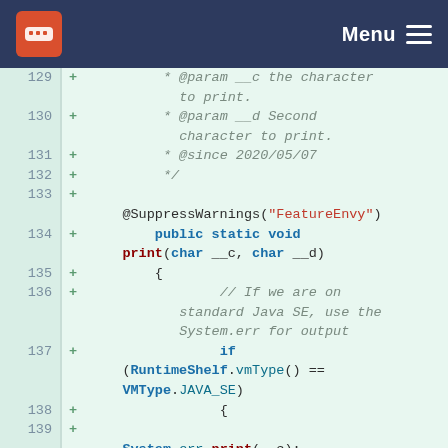Menu
[Figure (screenshot): Code diff view showing Java source lines 129-140 with line numbers, plus signs indicating added lines, and syntax-highlighted code on a light green background.]